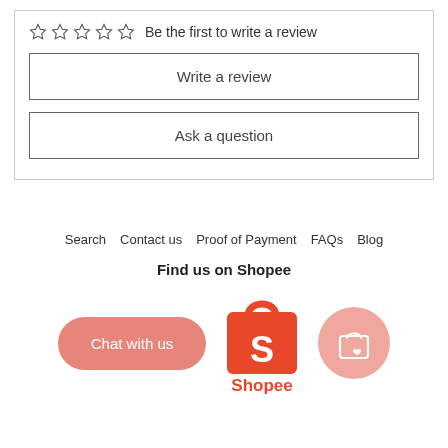☆☆☆☆☆  Be the first to write a review
Write a review
Ask a question
Search   Contact us   Proof of Payment   FAQs   Blog
Find us on Shopee
[Figure (logo): Shopee logo — orange shopping bag with white S letter and text Shopee below]
Chat with us
[Figure (logo): Pink circular icon with shopping bag and heart]